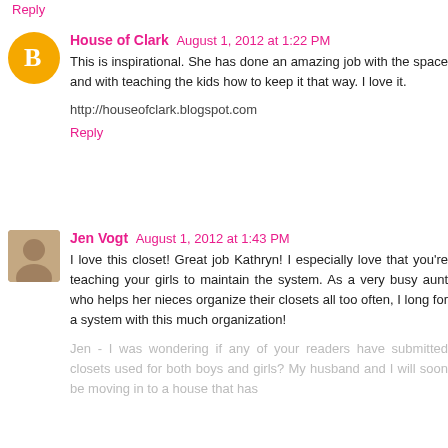Reply
House of Clark  August 1, 2012 at 1:22 PM
This is inspirational. She has done an amazing job with the space and with teaching the kids how to keep it that way. I love it.
http://houseofclark.blogspot.com
Reply
Jen Vogt  August 1, 2012 at 1:43 PM
I love this closet! Great job Kathryn! I especially love that you're teaching your girls to maintain the system. As a very busy aunt who helps her nieces organize their closets all too often, I long for a system with this much organization!
Jen - I was wondering if any of your readers have submitted closets used for both boys and girls? My husband and I will soon be moving in to a house that has